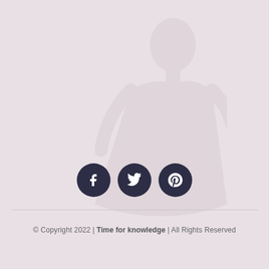[Figure (illustration): Faint watermark-style background illustration of a person, very low opacity on a muted mauve/pink background]
[Figure (other): Three dark circular social media icon buttons: Facebook (f), Twitter (bird), Pinterest (P)]
© Copyright 2022 | Time for knowledge | All Rights Reserved